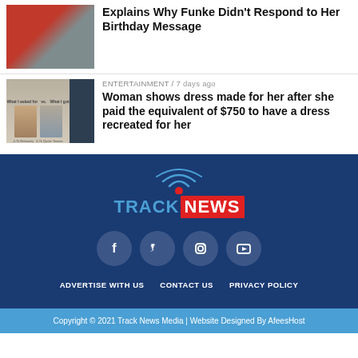Explains Why Funke Didn't Respond to Her Birthday Message
ENTERTAINMENT / 7 days ago
Woman shows dress made for her after she paid the equivalent of $750 to have a dress recreated for her
[Figure (logo): Track News logo with signal/wifi icon above text TRACKNEWS]
[Figure (infographic): Social media icons: Facebook, Twitter, Instagram, YouTube]
ADVERTISE WITH US   CONTACT US   PRIVACY POLICY
Copyright © 2021 Track News Media | Website Designed By AfeesHost